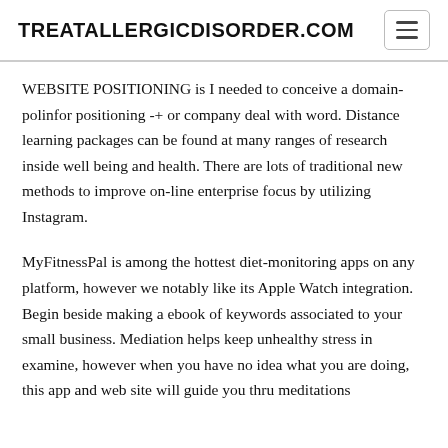TREATALLERGICDISORDER.COM
WEBSITE POSITIONING is I needed to conceive a domain-polinfor positioning -+ or company deal with word. Distance learning packages can be found at many ranges of research inside well being and health. There are lots of traditional new methods to improve on-line enterprise focus by utilizing Instagram.
MyFitnessPal is among the hottest diet-monitoring apps on any platform, however we notably like its Apple Watch integration. Begin beside making a ebook of keywords associated to your small business. Mediation helps keep unhealthy stress in examine, however when you have no idea what you are doing, this app and web site will guide you thru meditations